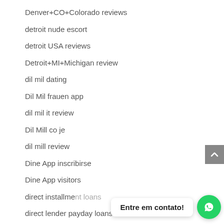Denver+CO+Colorado reviews
detroit nude escort
detroit USA reviews
Detroit+MI+Michigan review
dil mil dating
Dil Mil frauen app
dil mil it review
Dil Mill co je
dil mill review
Dine App inscribirse
Dine App visitors
direct installment loans
direct lender payday loans
Entre em contato!